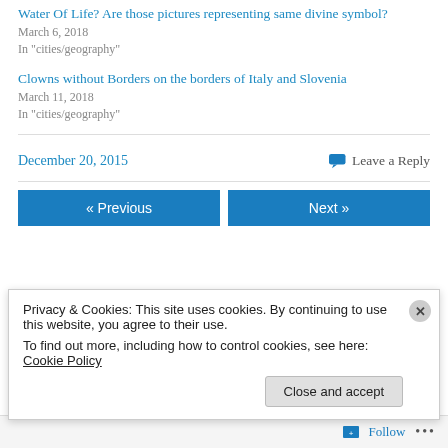Water Of Life? Are those pictures representing same divine symbol?
March 6, 2018
In "cities/geography"
Clowns without Borders on the borders of Italy and Slovenia
March 11, 2018
In "cities/geography"
December 20, 2015
Leave a Reply
« Previous
Next »
Privacy & Cookies: This site uses cookies. By continuing to use this website, you agree to their use.
To find out more, including how to control cookies, see here: Cookie Policy
Close and accept
Follow